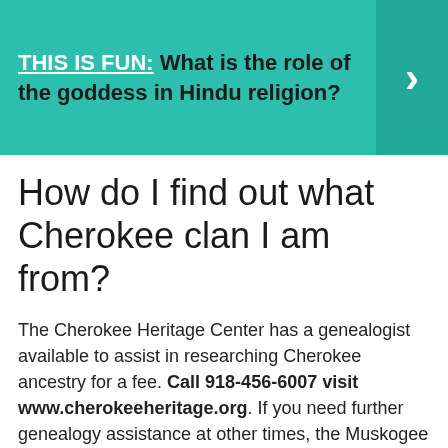[Figure (screenshot): Teal/green banner with bold text: 'THIS IS FUN: What is the role of the goddess in Hindu religion?' with a right-arrow chevron button on the right side.]
How do I find out what Cherokee clan I am from?
The Cherokee Heritage Center has a genealogist available to assist in researching Cherokee ancestry for a fee. Call 918-456-6007 visit www.cherokeeheritage.org. If you need further genealogy assistance at other times, the Muskogee Public Library, 801 West Okmulgee in Muskogee, Okla., may be able to help.
Indian traditions